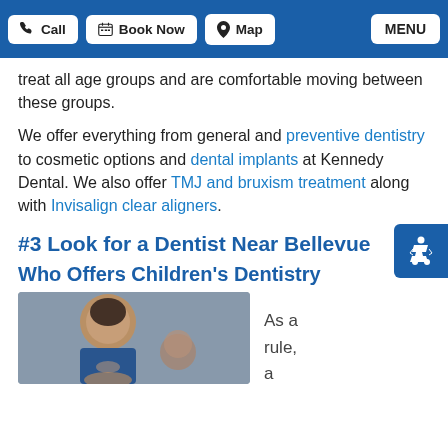Call | Book Now | Map | MENU
treat all age groups and are comfortable moving between these groups.
We offer everything from general and preventive dentistry to cosmetic options and dental implants at Kennedy Dental. We also offer TMJ and bruxism treatment along with Invisalign clear aligners.
#3 Look for a Dentist Near Bellevue
Who Offers Children's Dentistry
[Figure (photo): Photo of a smiling young boy with other children in the background]
As a rule, a